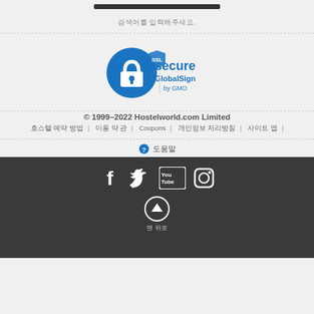[Figure (other): Search bar black rectangle]
검색어를 입력해주세요.
[Figure (logo): SSL Secure GlobalSign by GMO badge]
© 1999–2022 Hostelworld.com Limited
호스텔 예약 방법 | 이용 약 관 | Coupons | 개인정보 처리방침 | 사이트 맵 |
❓ 도움말
[Figure (other): Social media icons: Facebook, Twitter, YouTube, Instagram]
[Figure (other): Up arrow circle button with 맨 위로 label]